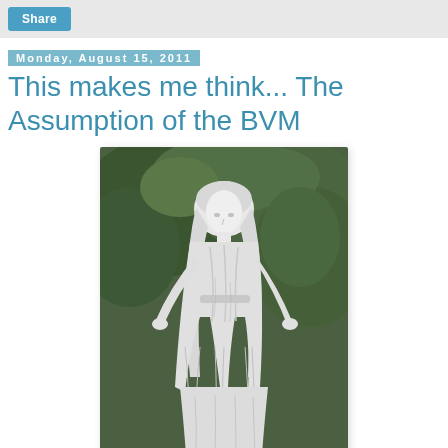Share
Monday, August 15, 2011
This makes me think... The Assumption of the BVM
[Figure (photo): White marble statue of the Blessed Virgin Mary (BVM), standing with arms slightly outstretched and head slightly bowed, wearing a veil and long robes with a sash at the waist, set against a background of green foliage.]